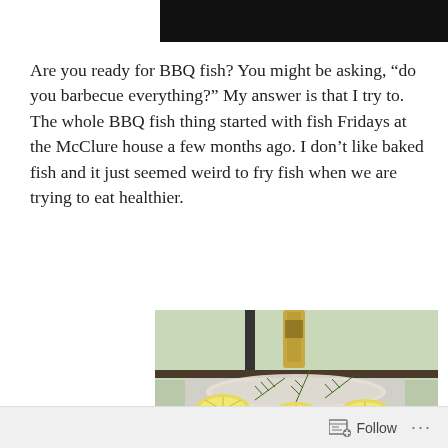[Figure (photo): Dark/black rectangular bar at the top of the page, partially cropped image header]
Are you ready for BBQ fish?  You might be asking, “do you barbecue everything?” My answer is that I try to.  The whole BBQ fish thing started with fish Fridays at the McClure house a few months ago.  I don’t like baked fish and it just seemed weird to fry fish when we are trying to eat healthier.
[Figure (photo): Photo of raw fish fillets on a board garnished with lemon slices and rosemary sprigs, with a bottle of olive oil in the background near a window]
Follow ...